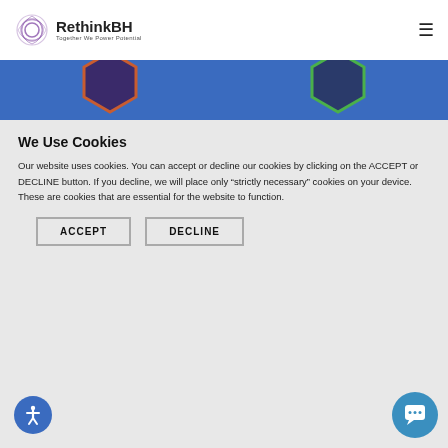RethinkBH – Together We Power Potential
[Figure (screenshot): Blue banner section with partially visible diamond/hexagon decorative shapes]
We Use Cookies
Our website uses cookies. You can accept or decline our cookies by clicking on the ACCEPT or DECLINE button. If you decline, we will place only "strictly necessary" cookies on your device. These are cookies that are essential for the website to function.
ACCEPT   DECLINE
[Figure (illustration): Accessibility icon button (blue circle with person icon) at bottom left]
[Figure (illustration): Chat icon button (blue circle with speech bubble icon) at bottom right]